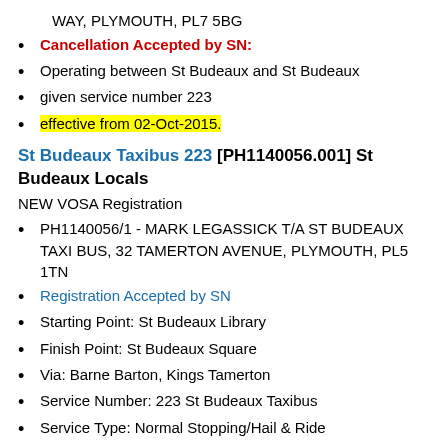WAY, PLYMOUTH, PL7 5BG
Cancellation Accepted by SN:
Operating between St Budeaux and St Budeaux
given service number 223
effective from 02-Oct-2015.
St Budeaux Taxibus 223 [PH1140056.001] St Budeaux Locals
NEW VOSA Registration
PH1140056/1 - MARK LEGASSICK T/A ST BUDEAUX TAXI BUS, 32 TAMERTON AVENUE, PLYMOUTH, PL5 1TN
Registration Accepted by SN
Starting Point: St Budeaux Library
Finish Point: St Budeaux Square
Via: Barne Barton, Kings Tamerton
Service Number: 223 St Budeaux Taxibus
Service Type: Normal Stopping/Hail & Ride